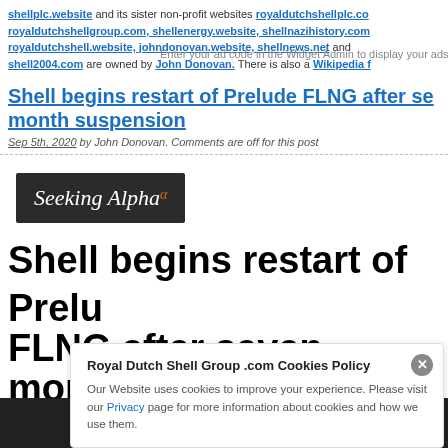shellplc.website and its sister non-profit websites royaldutchshellplc.com royaldutchshellgroup.com, shellenergy.website, shellnazihistory.com royaldutchshell.website, johndonovan.website, shellnews.net and shell2004.com are owned by John Donovan. There is also a Wikipedia f
Shell begins restart of Prelude FLNG after seven-month suspension
Sep 5th, 2020 by John Donovan. Comments are off for this post
[Figure (logo): Seeking Alpha logo — white italic text on dark background with orange alpha symbol]
Shell begins restart of Prelude FLNG after seven-month suspension
Royal Dutch Shell Group .com Cookies Policy
Our Website uses cookies to improve your experience. Please visit our Privacy page for more information about cookies and how we use them.